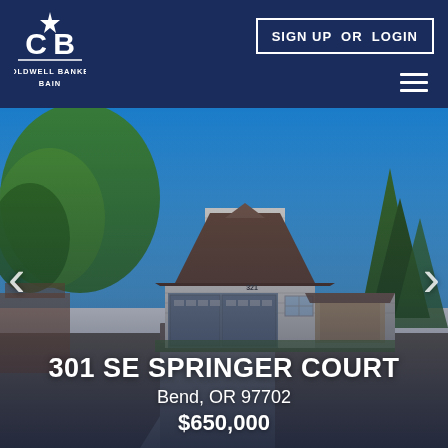[Figure (logo): Coldwell Banker Bain logo — CB monogram with star, white on navy blue background]
SIGN UP  OR  LOGIN
[Figure (photo): Exterior photo of a single-story residential home with gray/white siding, brown roof, attached two-car garage, front porch, surrounded by mature trees under a bright blue sky. Navigation arrows on left and right sides.]
301 SE SPRINGER COURT
Bend, OR 97702
$650,000